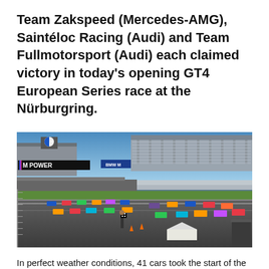Team Zakspeed (Mercedes-AMG), Saintéloc Racing (Audi) and Team Fullmotorsport (Audi) each claimed victory in today's opening GT4 European Series race at the Nürburgring.
[Figure (photo): Aerial view of GT4 European Series race start at the Nürburgring circuit, showing multiple racing cars on the pit straight with the BMW M Power grandstand and pit facilities in the background under a blue sky.]
In perfect weather conditions, 41 cars took the start of the